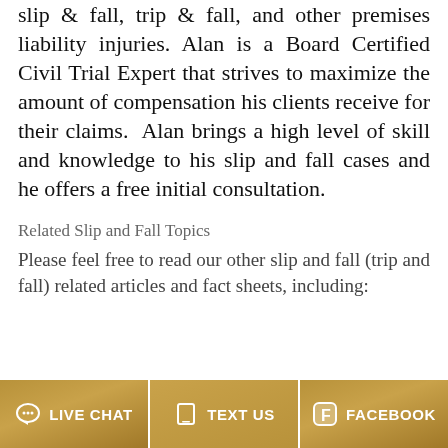slip & fall, trip & fall, and other premises liability injuries. Alan is a Board Certified Civil Trial Expert that strives to maximize the amount of compensation his clients receive for their claims. Alan brings a high level of skill and knowledge to his slip and fall cases and he offers a free initial consultation.
Related Slip and Fall Topics
Please feel free to read our other slip and fall (trip and fall) related articles and fact sheets, including:
LIVE CHAT   TEXT US   FACEBOOK